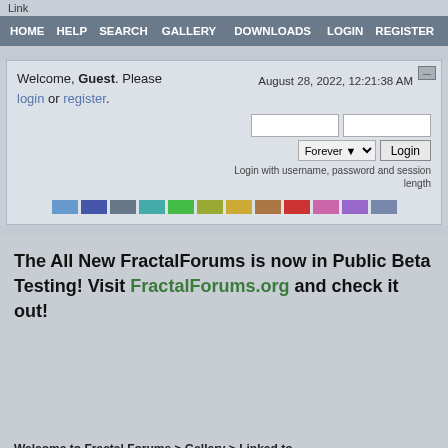Link
HOME  HELP  SEARCH  GALLERY  DOWNLOADS  LOGIN  REGISTER
Welcome, Guest. Please login or register.
August 28, 2022, 12:21:38 AM
Login with username, password and session length
The All New FractalForums is now in Public Beta Testing! Visit FractalForums.org and check it out!
Welcome to Fractal Forums > Gallery > Linked to